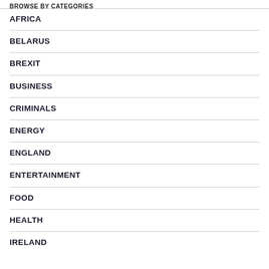BROWSE BY CATEGORIES
AFRICA
BELARUS
BREXIT
BUSINESS
CRIMINALS
ENERGY
ENGLAND
ENTERTAINMENT
FOOD
HEALTH
IRELAND